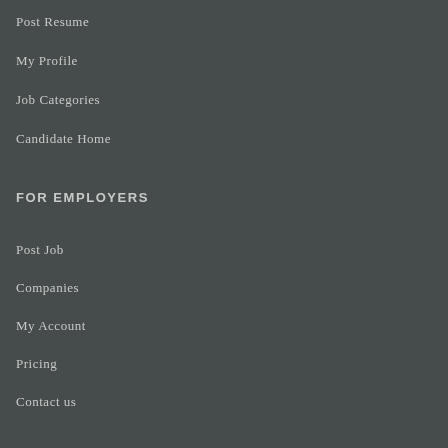Post Resume
My Profile
Job Categories
Candidate Home
FOR EMPLOYERS
Post Job
Companies
My Account
Pricing
Contact us